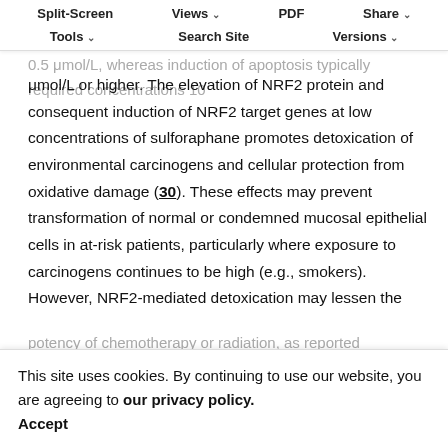Split-Screen | Views | PDF | Share | Tools | Search Site | Versions
μmol/L or higher. The elevation of NRF2 protein and consequent induction of NRF2 target genes at low concentrations of sulforaphane promotes detoxication of environmental carcinogens and cellular protection from oxidative damage (30). These effects may prevent transformation of normal or condemned mucosal epithelial cells in at-risk patients, particularly where exposure to carcinogens continues to be high (e.g., smokers). However, NRF2-mediated detoxication may lessen the
This site uses cookies. By continuing to use our website, you are agreeing to our privacy policy. Accept